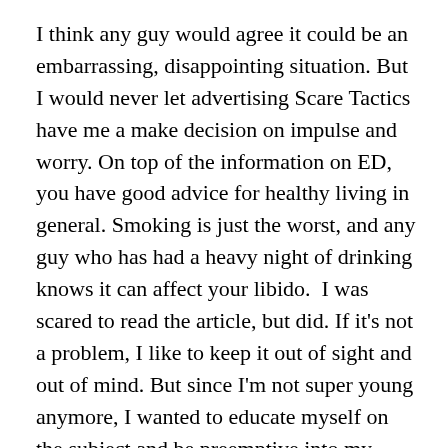I think any guy would agree it could be an embarrassing, disappointing situation. But I would never let advertising Scare Tactics have me a make decision on impulse and worry. On top of the information on ED, you have good advice for healthy living in general. Smoking is just the worst, and any guy who has had a heavy night of drinking knows it can affect your libido.  I was scared to read the article, but did. If it's not a problem, I like to keep it out of sight and out of mind. But since I'm not super young anymore, I wanted to educate myself on the subject and be preemptive into my advancing years. Thanks for putting in the time to give men direction and good luck with your